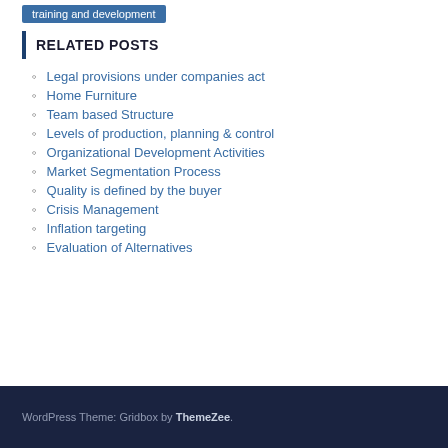training and development
RELATED POSTS
Legal provisions under companies act
Home Furniture
Team based Structure
Levels of production, planning & control
Organizational Development Activities
Market Segmentation Process
Quality is defined by the buyer
Crisis Management
Inflation targeting
Evaluation of Alternatives
WordPress Theme: Gridbox by ThemeZee.